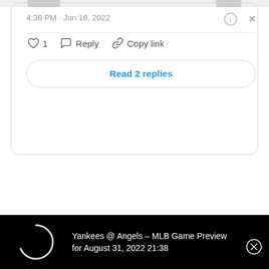4:36 PM · Jun 16, 2022
♡ 1   Reply   Copy link
Read 2 replies
Yankees @ Angels – MLB Game Preview for August 31, 2022 21:38